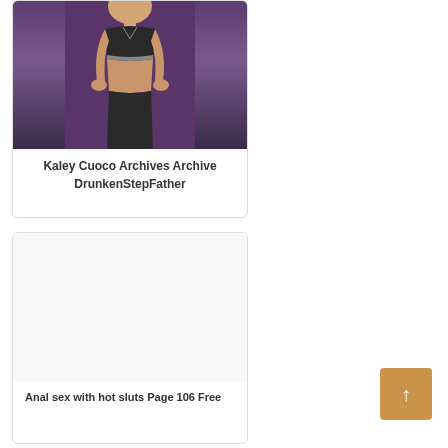[Figure (photo): Photo of a woman in a black sports bra and fitness attire, posed with hands on hips against a dark background]
Kaley Cuoco Archives Archive DrunkenStepFather
[Figure (photo): Second card image area, mostly white/blank]
Anal sex with hot sluts Page 106 Free